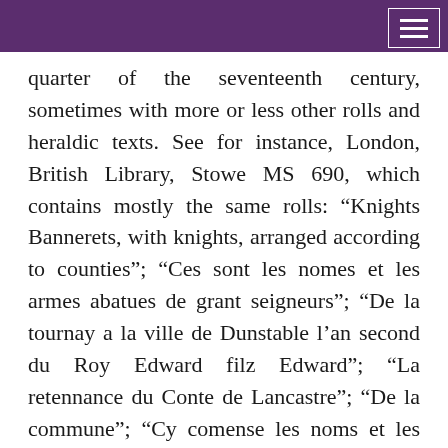quarter of the seventeenth century, sometimes with more or less other rolls and heraldic texts. See for instance, London, British Library, Stowe MS 690, which contains mostly the same rolls: “Knights Bannerets, with knights, arranged according to counties”; “Ces sont les nomes et les armes abatues de grant seigneurs”; “De la tournay a la ville de Dunstable l’an second du Roy Edward filz Edward”; “La retennance du Conte de Lancastre”; “De la commune”; “Cy comense les noms et les armes des seigneurs et nobles hommes qui estoient avesques le Roy Edward I. lane de grace 1300, et 28 de son regne, a la siege de Karlaveroko, en Escoce.”; Stowe MS 699, is of